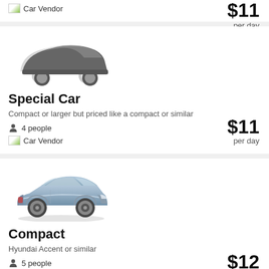Car Vendor — $11 per day (top card, cropped)
[Figure (illustration): Stylized silhouette icon of two overlapping cars (gray/dark), representing Special Car category]
Special Car
Compact or larger but priced like a compact or similar
4 people
Car Vendor
$11 per day
[Figure (photo): Photo of a silver/gray compact sedan (Hyundai Accent or similar) viewed from front-left angle]
Compact
Hyundai Accent or similar
5 people
Car Vendor
$12 per day